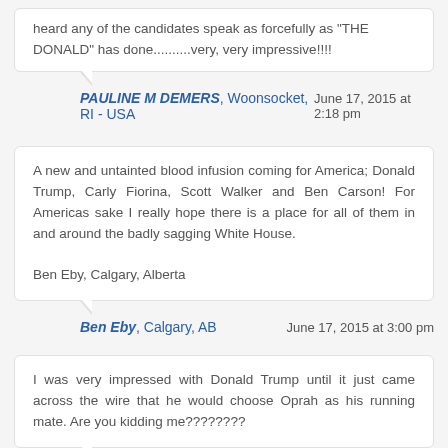heard any of the candidates speak as forcefully as "THE DONALD" has done..........very, very impressive!!!!
PAULINE M DEMERS, Woonsocket, RI - USA
June 17, 2015 at 2:18 pm
A new and untainted blood infusion coming for America; Donald Trump, Carly Fiorina, Scott Walker and Ben Carson! For Americas sake I really hope there is a place for all of them in and around the badly sagging White House.

Ben Eby, Calgary, Alberta
Ben Eby, Calgary, AB
June 17, 2015 at 3:00 pm
I was very impressed with Donald Trump until it just came across the wire that he would choose Oprah as his running mate. Are you kidding me????????
Mary Beth Crowgey, Roanoke, Virginia, United